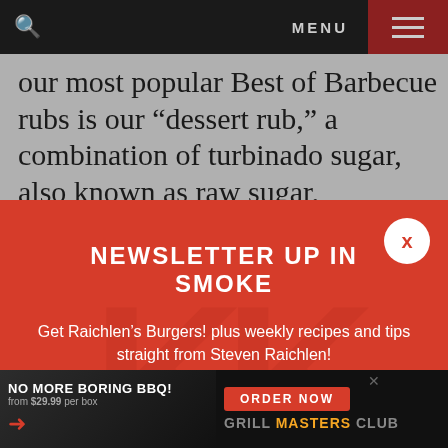MENU
our most popular Best of Barbecue rubs is our “dessert rub,” a combination of turbinado sugar, also known as raw sugar,
NEWSLETTER UP IN SMOKE
Get Raichlen’s Burgers! plus weekly recipes and tips straight from Steven Raichlen!
Email
NO MORE BORING BBQ! from $29.99 per box ORDER NOW GRILL MASTERS CLUB